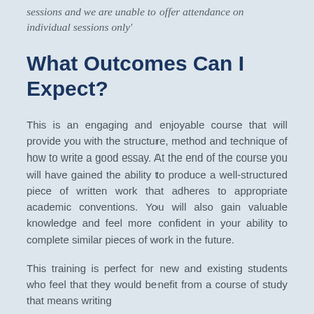sessions and we are unable to offer attendance on individual sessions only'
What Outcomes Can I Expect?
This is an engaging and enjoyable course that will provide you with the structure, method and technique of how to write a good essay. At the end of the course you will have gained the ability to produce a well-structured piece of written work that adheres to appropriate academic conventions. You will also gain valuable knowledge and feel more confident in your ability to complete similar pieces of work in the future.
This training is perfect for new and existing students who feel that they would benefit from a course of study that means writing